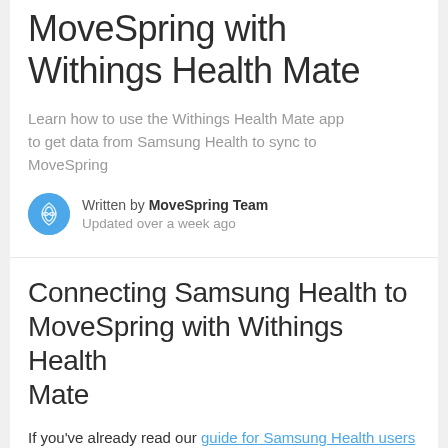MoveSpring with Withings Health Mate
Learn how to use the Withings Health Mate app to get data from Samsung Health to sync to MoveSpring
Written by MoveSpring Team
Updated over a week ago
Connecting Samsung Health to MoveSpring with Withings Health Mate
If you've already read our guide for Samsung Health users and have decided you'd like to try to connect your Samsung Health data to MoveSpring using the Withings Health Mate app, you're in the right place!